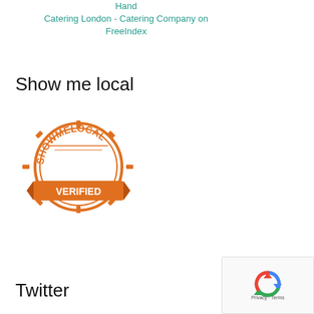Hand Catering London - Catering Company on FreeIndex
Show me local
[Figure (logo): ShowMeLocal Verified badge - orange circular stamp logo with text SHOWMELOCAL and VERIFIED]
Twitter
[Figure (logo): reCAPTCHA widget with Privacy and Terms text]